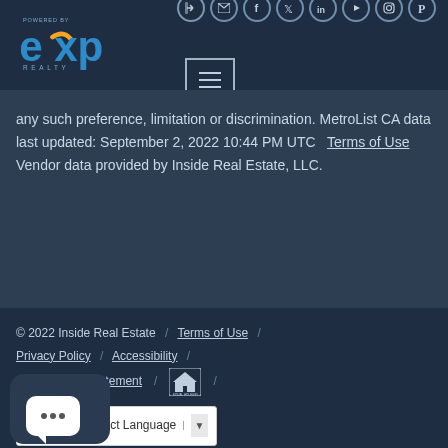[Figure (logo): eXp Realty logo in blue and orange on dark navy background]
any such preference, limitation or discrimination. MetroList CA data last updated: September 2, 2022 10:44 PM UTC  Terms of Use  Vendor data provided by Inside Real Estate, LLC.
© 2022 Inside Real Estate / Terms of Use / Privacy Policy / Accessibility / Fair Housing Statement / [Equal Housing Opportunity logo] / [Google Translate widget] [Chat bubble]